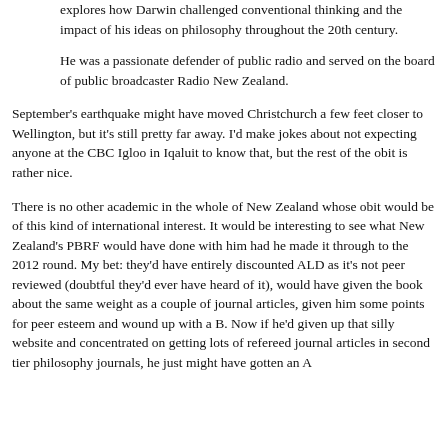explores how Darwin challenged conventional thinking and the impact of his ideas on philosophy throughout the 20th century.
He was a passionate defender of public radio and served on the board of public broadcaster Radio New Zealand.
September's earthquake might have moved Christchurch a few feet closer to Wellington, but it's still pretty far away. I'd make jokes about not expecting anyone at the CBC Igloo in Iqaluit to know that, but the rest of the obit is rather nice.
There is no other academic in the whole of New Zealand whose obit would be of this kind of international interest. It would be interesting to see what New Zealand's PBRF would have done with him had he made it through to the 2012 round. My bet: they'd have entirely discounted ALD as it's not peer reviewed (doubtful they'd ever have heard of it), would have given the book about the same weight as a couple of journal articles, given him some points for peer esteem and wound up with a B. Now if he'd given up that silly website and concentrated on getting lots of refereed journal articles in second tier philosophy journals, he just might have gotten an A